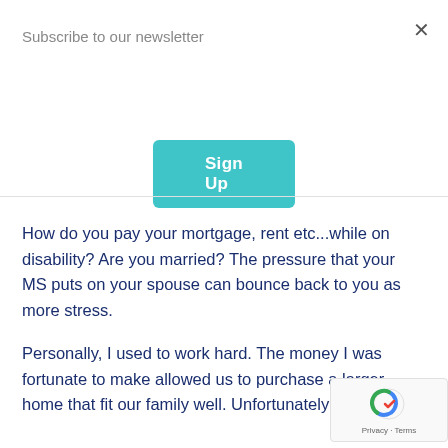Subscribe to our newsletter
[Figure (other): Teal 'Sign Up' button for newsletter subscription]
How do you pay your mortgage, rent etc...while on disability? Are you married? The pressure that your MS puts on your spouse can bounce back to you as more stress.
Personally, I used to work hard. The money I was fortunate to make allowed us to purchase a larger home that fit our family well. Unfortunately with that
[Figure (logo): Google reCAPTCHA badge with Privacy and Terms links]